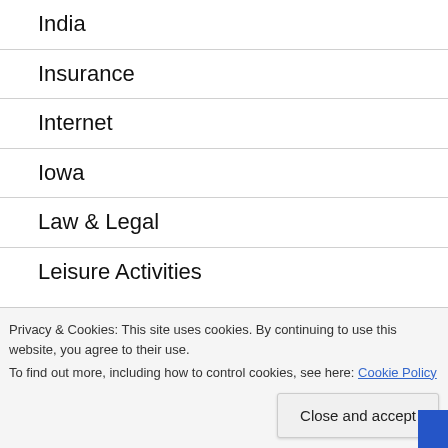India
Insurance
Internet
Iowa
Law & Legal
Leisure Activities
Privacy & Cookies: This site uses cookies. By continuing to use this website, you agree to their use.
To find out more, including how to control cookies, see here: Cookie Policy
Manufacturing Industry